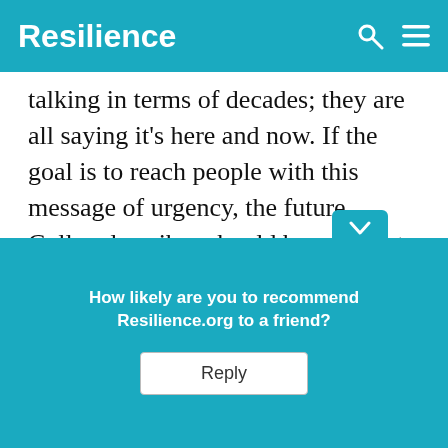Resilience
talking in terms of decades; they are all saying it's here and now. If the goal is to reach people with this message of urgency, the future Cullen describes should be near, not distant. So this is what she does.
After a brief but thorough section explaining climate, weather, what we know and ho[w much certainty] be requir[ed...] scienc[e...] even
[Figure (screenshot): A teal popup widget with text 'How likely are you to recommend Resilience.org to a friend?' and a Reply button, with a chevron tab at the top right.]